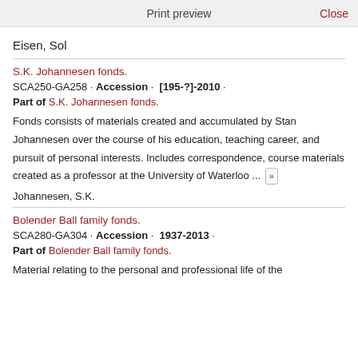Print preview   Close
Eisen, Sol
S.K. Johannesen fonds.
SCA250-GA258 · Accession · [195-?]-2010 ·
Part of S.K. Johannesen fonds.
Fonds consists of materials created and accumulated by Stan Johannesen over the course of his education, teaching career, and pursuit of personal interests. Includes correspondence, course materials created as a professor at the University of Waterloo ... »
Johannesen, S.K.
Bolender Ball family fonds.
SCA280-GA304 · Accession · 1937-2013 ·
Part of Bolender Ball family fonds.
Material relating to the personal and professional life of the